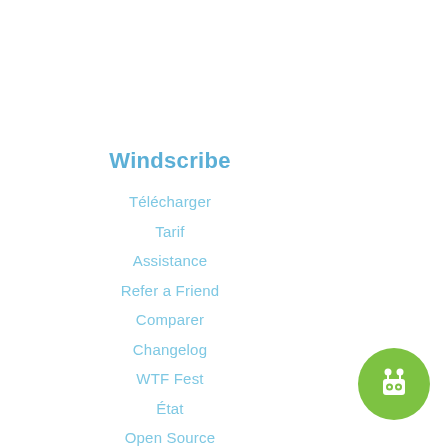Windscribe
Télécharger
Tarif
Assistance
Refer a Friend
Comparer
Changelog
WTF Fest
État
Open Source
Windscribe DNS
Company
[Figure (illustration): Green circular robot/bot icon button in the bottom-right corner]